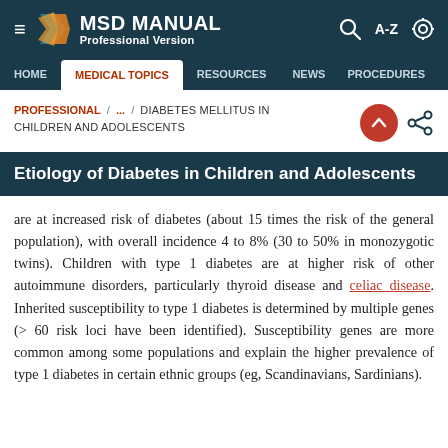MSD MANUAL Professional Version
HOME / MEDICAL TOPICS / RESOURCES / NEWS / PROCEDURES
PROFESSIONAL / ... / DIABETES MELLITUS IN CHILDREN AND ADOLESCENTS
Etiology of Diabetes in Children and Adolescents
are at increased risk of diabetes (about 15 times the risk of the general population), with overall incidence 4 to 8% (30 to 50% in monozygotic twins). Children with type 1 diabetes are at higher risk of other autoimmune disorders, particularly thyroid disease and celiac disease. Inherited susceptibility to type 1 diabetes is determined by multiple genes (> 60 risk loci have been identified). Susceptibility genes are more common among some populations and explain the higher prevalence of type 1 diabetes in certain ethnic groups (eg, Scandinavians, Sardinians).